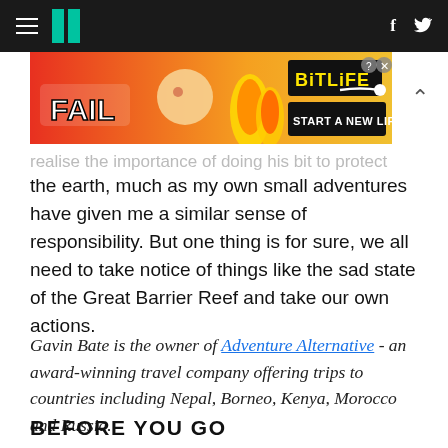HuffPost navigation with hamburger menu, logo, Facebook and Twitter icons
[Figure (screenshot): BitLife advertisement banner: 'FAIL' text with cartoon character, flames, and 'BitLife - START A NEW LIFE' call to action on red/orange background]
...realise the importance of doing his bit to protect the earth, much as my own small adventures have given me a similar sense of responsibility. But one thing is for sure, we all need to take notice of things like the sad state of the Great Barrier Reef and take our own actions.
Gavin Bate is the owner of Adventure Alternative - an award-winning travel company offering trips to countries including Nepal, Borneo, Kenya, Morocco and Russia.
BEFORE YOU GO